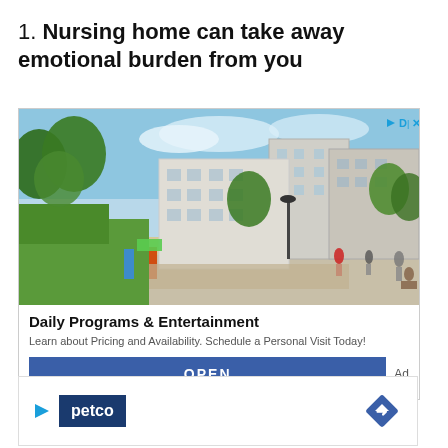1. Nursing home can take away emotional burden from you
[Figure (photo): Advertisement showing a modern residential or senior living complex with outdoor courtyard, playground equipment, green trees, and people walking. Overlay shows ad icon with D|X in top right corner.]
Daily Programs & Entertainment
Learn about Pricing and Availability. Schedule a Personal Visit Today!
OPEN
Ad
[Figure (logo): Petco advertisement banner with Petco logo on dark blue background and a blue diamond navigation arrow icon on the right.]